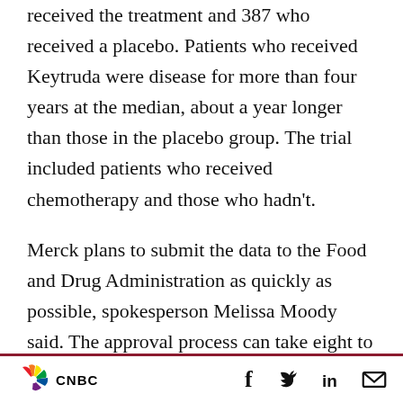received the treatment and 387 who received a placebo. Patients who received Keytruda were disease for more than four years at the median, about a year longer than those in the placebo group. The trial included patients who received chemotherapy and those who hadn't.
Merck plans to submit the data to the Food and Drug Administration as quickly as possible, spokesperson Melissa Moody said. The approval process can take eight to 12 months, according to Baynes. Keytruda was first approved by the FDA in 2014 to treat melanoma and has become a blockbuster drug for Merck that is now used to
[Figure (logo): CNBC peacock logo with colored segments (red, orange, yellow, green, blue, purple) and CNBC text beneath]
[Figure (other): Social media icons: Facebook (f), Twitter bird, LinkedIn (in), Email envelope]